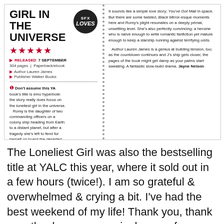[Figure (other): Magazine clipping showing a book review of 'The Loneliest Girl in the Universe' with SFX Loves badge, five stars, release info, author/publisher details, and review text in two columns.]
The Loneliest Girl was also the bestselling title at YALC this year, where it sold out in a few hours (twice!). I am so grateful & overwhelmed & crying a bit. I've had the best weekend of my life! Thank you, thank you, thank you, every single one of you